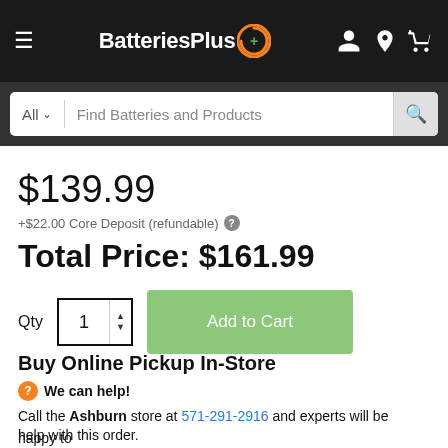[Figure (screenshot): BatteriesPlus website header with logo, hamburger menu, account icon, location icon, and cart icon on black background]
[Figure (screenshot): Search bar with All dropdown, Find Batteries and Products placeholder text, and search button]
$139.99
+$22.00 Core Deposit (refundable)
Total Price: $161.99
Qty 1 Add to Cart
Buy Online Pickup In-Store
We can help!
Call the Ashburn store at 571-291-2916 and experts will be happy to help with this order.